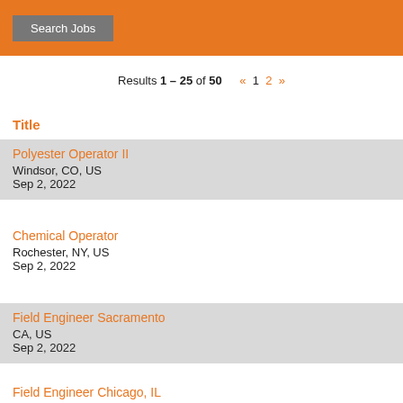[Figure (screenshot): Orange header bar with a 'Search Jobs' button]
Results 1 – 25 of 50  « 1 2 »
Title
Polyester Operator II
Windsor, CO, US
Sep 2, 2022
Chemical Operator
Rochester, NY, US
Sep 2, 2022
Field Engineer Sacramento
CA, US
Sep 2, 2022
Field Engineer Chicago, IL